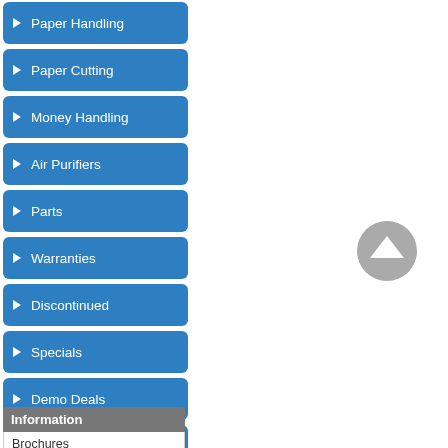Paper Handling
Paper Cutting
Money Handling
Air Purifiers
Parts
Warranties
Discontinued
Specials
Demo Deals
What's New?
Related Products
Information
Brochures
Product Catalog
[Figure (other): Gray circular scroll-to-top button with white upward chevron arrow]